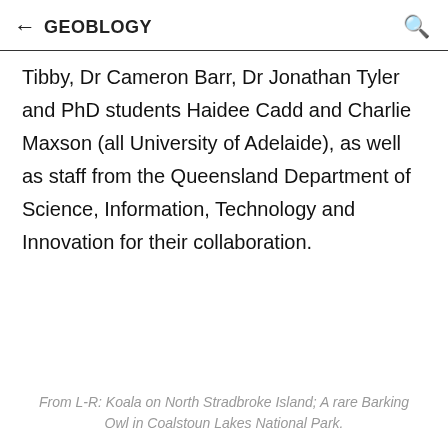← GEOBLOGY 🔍
Tibby, Dr Cameron Barr, Dr Jonathan Tyler and PhD students Haidee Cadd and Charlie Maxson (all University of Adelaide), as well as staff from the Queensland Department of Science, Information, Technology and Innovation for their collaboration.
From L-R: Koala on North Stradbroke Island; A rare Barking Owl in Coalstoun Lakes National Park.